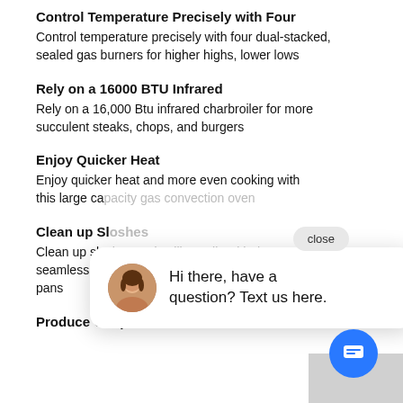Control Temperature Precisely with Four
Control temperature precisely with four dual-stacked, sealed gas burners for higher highs, lower lows
Rely on a 16000 BTU Infrared
Rely on a 16,000 Btu infrared charbroiler for more succulent steaks, chops, and burgers
Enjoy Quicker Heat
Enjoy quicker heat and more even cooking with this large capacity gas convection oven
Clean up Sloshes
Clean up sloshes and spills easily with the seamless, sealed, black porcelain-coated burner pans
Produce Crisper Crusts
[Figure (other): Chat popup overlay with avatar of a woman and text 'Hi there, have a question? Text us here.' along with a close button and blue chat bubble button]